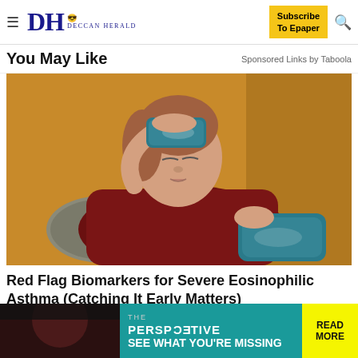DH DECCAN HERALD | Subscribe To Epaper
You May Like
Sponsored Links by Taboola
[Figure (photo): Woman reclining on a yellow sofa holding a blue ice/gel pack to her forehead with one hand and another on her abdomen, wearing a dark red shirt, appearing unwell]
Red Flag Biomarkers for Severe Eosinophilic Asthma (Catching It Early Matters)
Asthma | Search Ads
[Figure (photo): Bottom advertisement: THE PERSPECTIVE - SEE WHAT YOU'RE MISSING | READ MORE]